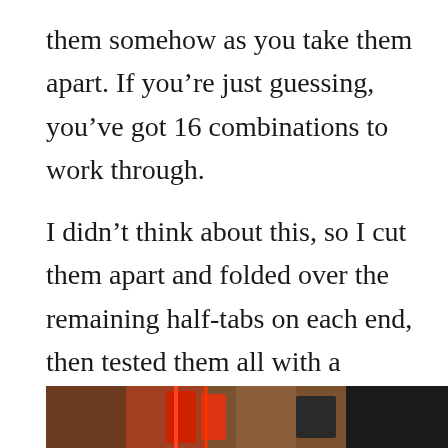them somehow as you take them apart. If you're just guessing, you've got 16 combinations to work through.
I didn't think about this, so I cut them apart and folded over the remaining half-tabs on each end, then tested them all with a multimeter to get the polarity (my digital multimeter is missing, so I couldn't get exact volt-readings).
[Figure (photo): Partial photo showing what appears to be red wires or components on a wooden surface, partially cut off at the bottom of the page.]